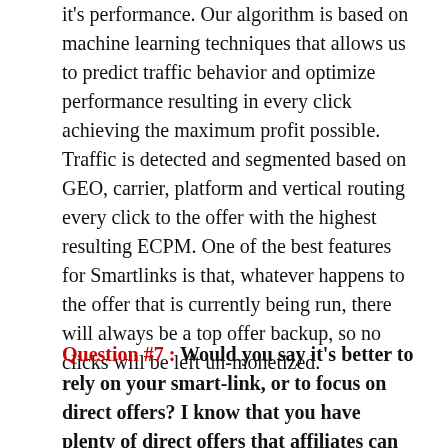it's performance. Our algorithm is based on machine learning techniques that allows us to predict traffic behavior and optimize performance resulting in every click achieving the maximum profit possible. Traffic is detected and segmented based on GEO, carrier, platform and vertical routing every click to the offer with the highest resulting ECPM. One of the best features for Smartlinks is that, whatever happens to the offer that is currently being run, there will always be a top offer backup, so no clicks will be left un-monetized.
Question #7 : Would you say it's better to rely on your smart-link, or to focus on direct offers? I know that you have plenty of direct offers that affiliates can promote, but sometimes the smart-link algo